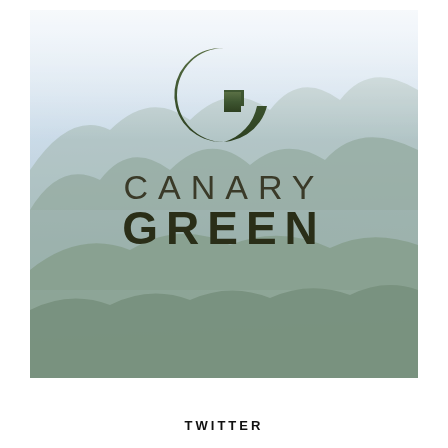[Figure (logo): Canary Green brand logo on mountain landscape background. A large stylized letter G with forest imagery inside, above the text CANARY GREEN in bold dark lettering.]
TWITTER